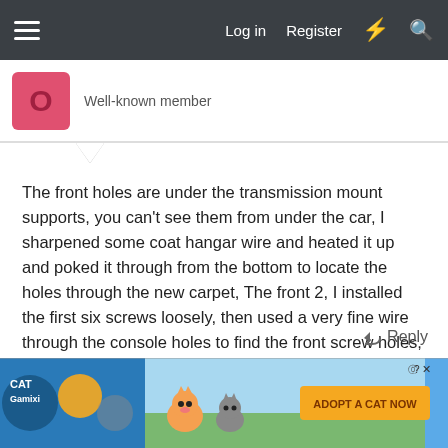Log in  Register
Well-known member
The front holes are under the transmission mount supports, you can't see them from under the car, I sharpened some coat hangar wire and heated it up and poked it through from the bottom to locate the holes through the new carpet, The front 2, I installed the first six screws loosely, then used a very fine wire through the console holes to find the front screw holes, and carefully ran a heated wire through the carpet to get the screws in without spooling up the carpet. It's tricky, but do-able. Good luck!!
Reply
[Figure (screenshot): Mobile game advertisement banner: Cat game 'ADOPT A CAT NOW' promotional banner with cartoon cats]